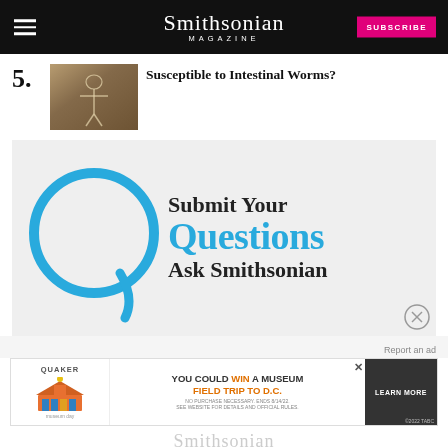Smithsonian Magazine
5. Susceptible to Intestinal Worms?
[Figure (photo): Archeological excavation photo showing skeletal remains]
[Figure (infographic): Submit Your Questions – Ask Smithsonian promotional ad with large blue Q letter graphic]
Report an ad
[Figure (infographic): Quaker advertisement: YOU COULD WIN A MUSEUM FIELD TRIP TO D.C. LEARN MORE. No purchase necessary. Ends 8/14/22. See website for details and official rules.]
Smithsonian Magazine